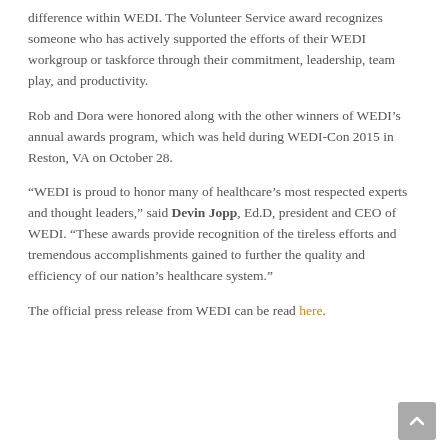difference within WEDI. The Volunteer Service award recognizes someone who has actively supported the efforts of their WEDI workgroup or taskforce through their commitment, leadership, team play, and productivity.
Rob and Dora were honored along with the other winners of WEDI's annual awards program, which was held during WEDI-Con 2015 in Reston, VA on October 28.
“WEDI is proud to honor many of healthcare’s most respected experts and thought leaders,” said Devin Jopp, Ed.D, president and CEO of WEDI. “These awards provide recognition of the tireless efforts and tremendous accomplishments gained to further the quality and efficiency of our nation’s healthcare system.”
The official press release from WEDI can be read here.